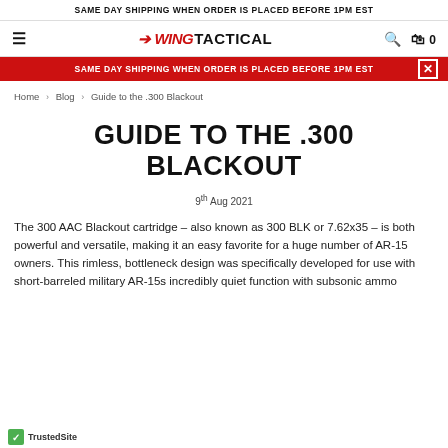SAME DAY SHIPPING WHEN ORDER IS PLACED BEFORE 1PM EST
[Figure (logo): Wing Tactical logo with hamburger menu, search icon, and cart icon showing 0 items]
SAME DAY SHIPPING WHEN ORDER IS PLACED BEFORE 1PM EST
Home > Blog > Guide to the .300 Blackout
GUIDE TO THE .300 BLACKOUT
9th Aug 2021
The 300 AAC Blackout cartridge – also known as 300 BLK or 7.62x35 – is both powerful and versatile, making it an easy favorite for a huge number of AR-15 owners. This rimless, bottleneck design was specifically developed for use with short-barreled military AR-15s incredibly quiet function with subsonic ammo